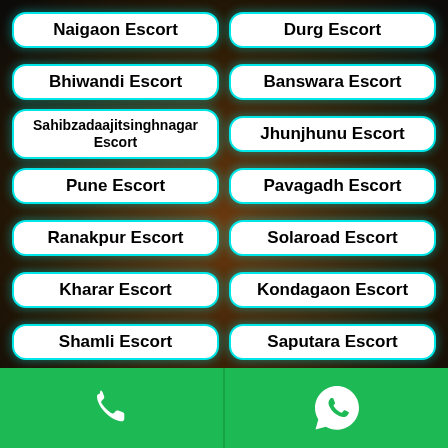Naigaon Escort
Durg Escort
Bhiwandi Escort
Banswara Escort
Sahibzadaajitsinghnagar Escort
Jhunjhunu Escort
Pune Escort
Pavagadh Escort
Ranakpur Escort
Solaroad Escort
Kharar Escort
Kondagaon Escort
Shamli Escort
Saputara Escort
[Figure (screenshot): Phone call icon button on green background]
[Figure (screenshot): WhatsApp icon button on green background]